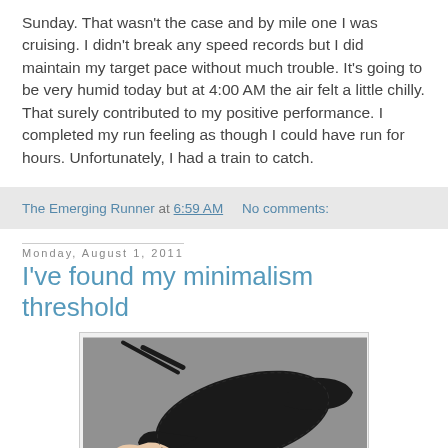Sunday. That wasn't the case and by mile one I was cruising. I didn't break any speed records but I did maintain my target pace without much trouble. It's going to be very humid today but at 4:00 AM the air felt a little chilly. That surely contributed to my positive performance. I completed my run feeling as though I could have run for hours. Unfortunately, I had a train to catch.
The Emerging Runner at 6:59 AM   No comments:
Monday, August 1, 2011
I've found my minimalism threshold
[Figure (photo): A minimalist running shoe or sandal shown from above against a grey surface, held by a hand. The shoe appears to be a thin black huarache-style sandal with laces.]